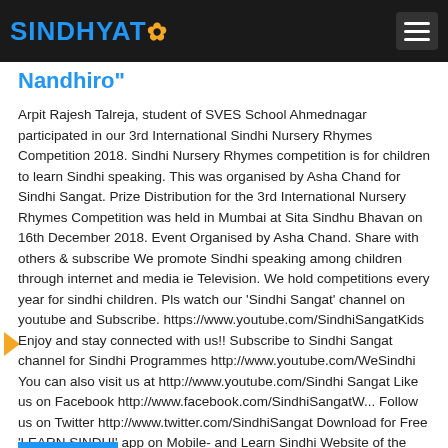SINDHYAT
Nandhiro"
Arpit Rajesh Talreja, student of SVES School Ahmednagar participated in our 3rd International Sindhi Nursery Rhymes Competition 2018. Sindhi Nursery Rhymes competition is for children to learn Sindhi speaking. This was organised by Asha Chand for Sindhi Sangat. Prize Distribution for the 3rd International Nursery Rhymes Competition was held in Mumbai at Sita Sindhu Bhavan on 16th December 2018. Event Organised by Asha Chand. Share with others & subscribe We promote Sindhi speaking among children through internet and media ie Television. We hold competitions every year for sindhi children. Pls watch our 'Sindhi Sangat' channel on youtube and Subscribe. https://www.youtube.com/SindhiSangatKids Enjoy and stay connected with us!! Subscribe to Sindhi Sangat channel for Sindhi Programmes http://www.youtube.com/WeSindhi You can also visit us at http://www.youtube.com/Sindhi Sangat Like us on Facebook http://www.facebook.com/SindhiSangatW... Follow us on Twitter http://www.twitter.com/SindhiSangat Download for Free 'LEARN SINDHI' app on Mobile- and Learn Sindhi Website of the most illustrious Sindhi short story writer http://www.sundriuttam.com